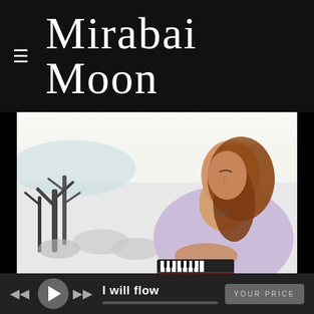Mirabai Moon
[Figure (photo): A woman with long auburn hair sits outdoors playing a small keyboard/harmonium instrument. She is wearing a light purple/lavender top and appears to be in a meditative or focused state with eyes closed. The background shows blurred bare trees, rocks, and bright sky near water.]
I will flow
YOUR PRICE